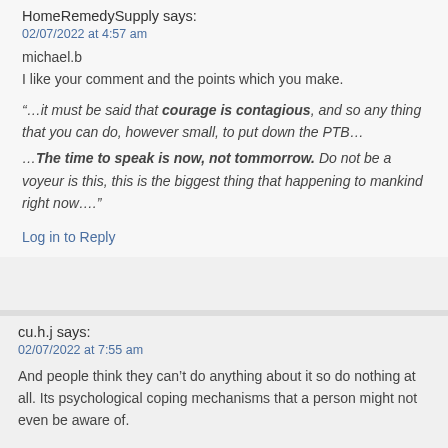HomeRemedySupply says:
02/07/2022 at 4:57 am
michael.b
I like your comment and the points which you make.
“…it must be said that courage is contagious, and so any thing that you can do, however small, to put down the PTB…
…The time to speak is now, not tommorrow. Do not be a voyeur is this, this is the biggest thing that happening to mankind right now….”
Log in to Reply
cu.h.j says:
02/07/2022 at 7:55 am
And people think they can’t do anything about it so do nothing at all. Its psychological coping mechanisms that a person might not even be aware of.